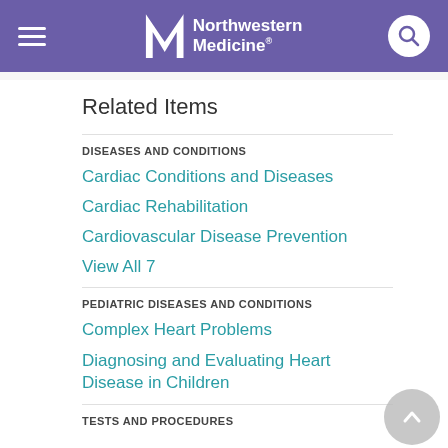[Figure (screenshot): Northwestern Medicine website header with hamburger menu, logo, and search button on purple background]
Related Items
DISEASES AND CONDITIONS
Cardiac Conditions and Diseases
Cardiac Rehabilitation
Cardiovascular Disease Prevention
View All 7
PEDIATRIC DISEASES AND CONDITIONS
Complex Heart Problems
Diagnosing and Evaluating Heart Disease in Children
TESTS AND PROCEDURES